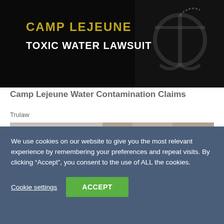[Figure (photo): Black background image with text 'CAMP LEJEUNE TOXIC WATER LAWSUIT' in yellow/white bold letters, with a military anchor graphic]
Camp Lejeune Water Contamination Claims
Trulaw
[Figure (photo): Two side-by-side photos showing close-up images of clothing/skin]
We use cookies on our website to give you the most relevant experience by remembering your preferences and repeat visits. By clicking “Accept”, you consent to the use of ALL the cookies.
Cookie settings
ACCEPT